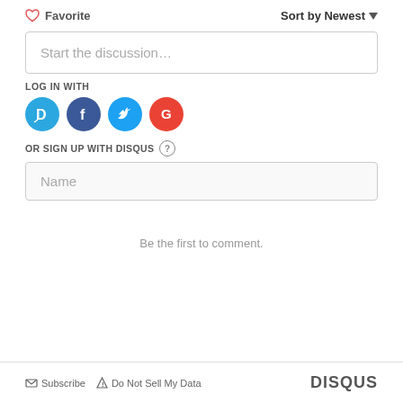♡ Favorite
Sort by Newest ▾
Start the discussion…
LOG IN WITH
[Figure (illustration): Four social login icons: Disqus (blue circle with D), Facebook (dark blue with f), Twitter (light blue with bird), Google (red with G)]
OR SIGN UP WITH DISQUS ?
Name
Be the first to comment.
✉ Subscribe ▲ Do Not Sell My Data   DISQUS